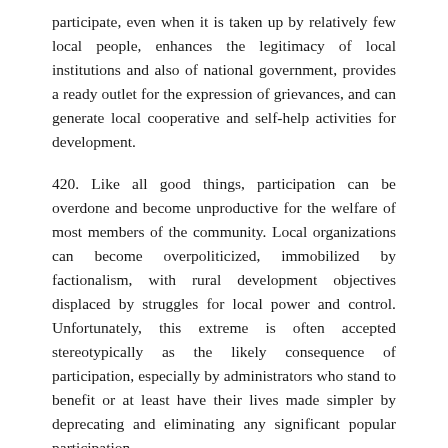participate, even when it is taken up by relatively few local people, enhances the legitimacy of local institutions and also of national government, provides a ready outlet for the expression of grievances, and can generate local cooperative and self-help activities for development.
420. Like all good things, participation can be overdone and become unproductive for the welfare of most members of the community. Local organizations can become overpoliticized, immobilized by factionalism, with rural development objectives displaced by struggles for local power and control. Unfortunately, this extreme is often accepted stereotypically as the likely consequence of participation, especially by administrators who stand to benefit or at least have their lives made simpler by deprecating and eliminating any significant popular participation.